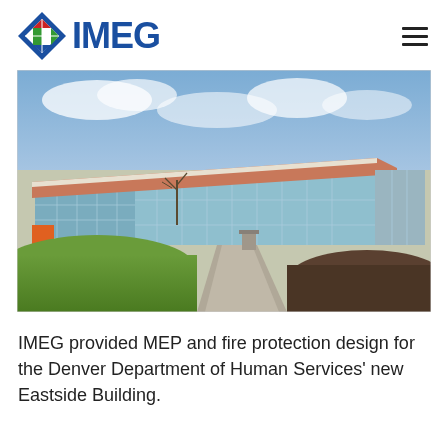IMEG
[Figure (photo): Exterior photograph of a modern building with extensive glass curtain wall facade, slanted roofline with wood soffit, concrete walkway, green lawn, and landscaping under a partly cloudy sky. Denver Department of Human Services Eastside Building.]
IMEG provided MEP and fire protection design for the Denver Department of Human Services' new Eastside Building.